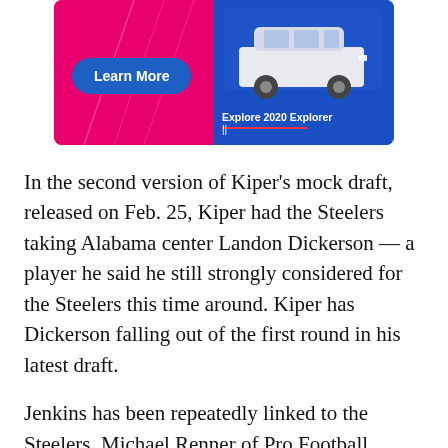[Figure (photo): Advertisement banner for Ford 2020 Explorer. Pink/magenta left half with white diagonal lines and a blue 'Learn More' button. Blue right half showing a white Ford Explorer SUV with text 'Explore 2020 Explorer'.]
In the second version of Kiper's mock draft, released on Feb. 25, Kiper had the Steelers taking Alabama center Landon Dickerson — a player he said he still strongly considered for the Steelers this time around. Kiper has Dickerson falling out of the first round in his latest draft.
Jenkins has been repeatedly linked to the Steelers. Michael Renner of Pro Football Focus, Tom Fornelli of CBS Sports and Daniel Jeremiah of NFL.com have all mocked Jenkins to the